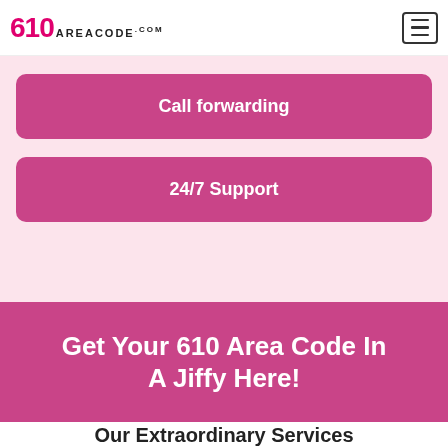610areacode.com
Call forwarding
24/7 Support
Get Your 610 Area Code In A Jiffy Here!
Our Extraordinary Services